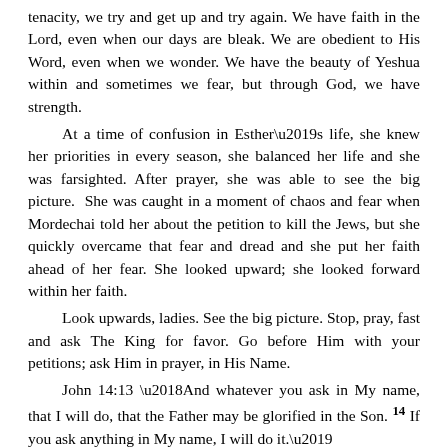tenacity, we try and get up and try again. We have faith in the Lord, even when our days are bleak. We are obedient to His Word, even when we wonder. We have the beauty of Yeshua within and sometimes we fear, but through God, we have strength.
At a time of confusion in Esther's life, she knew her priorities in every season, she balanced her life and she was farsighted. After prayer, she was able to see the big picture. She was caught in a moment of chaos and fear when Mordechai told her about the petition to kill the Jews, but she quickly overcame that fear and dread and she put her faith ahead of her fear. She looked upward; she looked forward within her faith.
Look upwards, ladies. See the big picture. Stop, pray, fast and ask The King for favor. Go before Him with your petitions; ask Him in prayer, in His Name.
John 14:13 ‘And whatever you ask in My name, that I will do, that the Father may be glorified in the Son. 14 If you ask anything in My name, I will do it.’
Blessings~